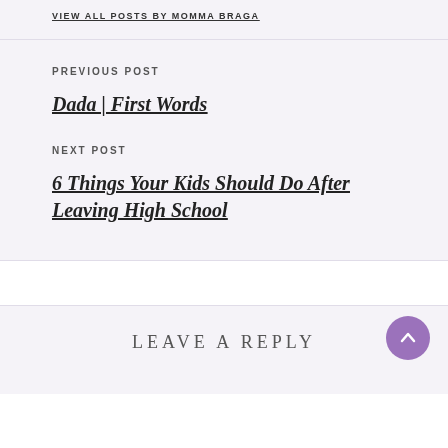VIEW ALL POSTS BY MOMMA BRAGA
PREVIOUS POST
Dada | First Words
NEXT POST
6 Things Your Kids Should Do After Leaving High School
LEAVE A REPLY